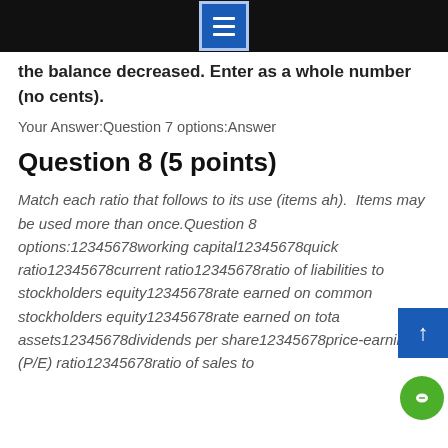the balance decreased. Enter as a whole number (no cents).
Your Answer:Question 7 options:Answer
Question 8 (5 points)
Match each ratio that follows to its use (items ah).  Items may be used more than once.Question 8 options:12345678working capital12345678quick ratio12345678current ratio12345678ratio of liabilities to stockholders equity12345678rate earned on common stockholders equity12345678rate earned on total assets12345678dividends per share12345678price-earnings (P/E) ratio12345678ratio of sales to